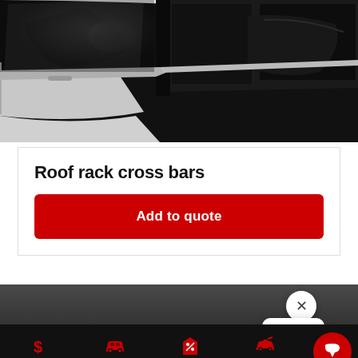[Figure (photo): Close-up photo of a car's side windows and roof area, dark tinted windows with white/silver body trim]
Roof rack cross bars
Add to quote
[Figure (screenshot): Bottom navigation bar with Finance, Vehicles, Offers, Test Drive, Contact items plus a chat button popup with close X and three dots panel]
Finance
Vehicles
Offers
Test Drive
Contact